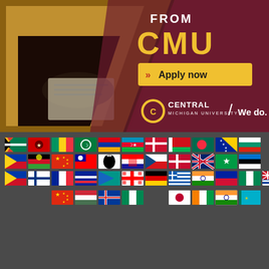[Figure (photo): CMU advertisement banner showing a person in a yellow Adidas shirt writing on a clipboard, with maroon background. Text reads 'FROM CMU', 'Apply now' button, Central Michigan University logo and 'We do.' tagline.]
[Figure (infographic): Grid of country flags representing international student origins, arranged in four rows of approximately 11-12 flags each, displayed on a dark gray background.]